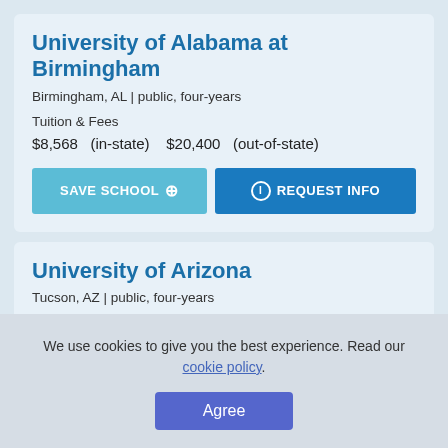University of Alabama at Birmingham
Birmingham, AL | public, four-years
Tuition & Fees
$8,568   (in-state)    $20,400   (out-of-state)
University of Arizona
Tucson, AZ | public, four-years
Tuition & Fees
$12,736   (in-state)    $37,258   (out-of-state)
We use cookies to give you the best experience. Read our cookie policy.